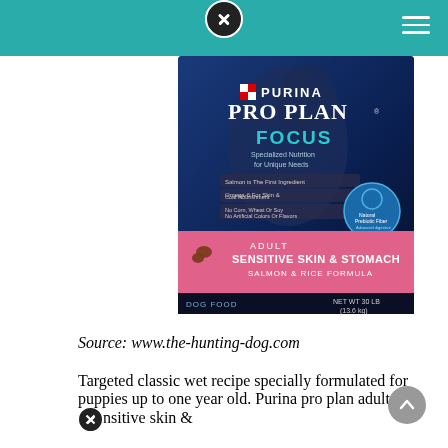[Figure (photo): Purina Pro Plan Focus Adult Sensitive Skin & Stomach Salmon & Rice Formula dry dog food bag, 30 lb (13.6 kg). Dark blue bag with image of a dog, pink band at bottom with product name, Natural Prebiotic Fiber seal.]
Source: www.the-hunting-dog.com
Targeted classic wet recipe specially formulated for puppies up to one year old. Purina pro plan adult sensitive skin &